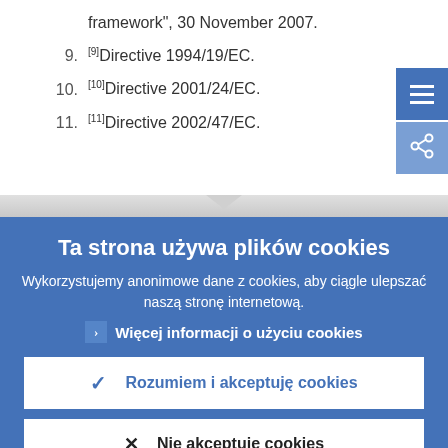framework", 30 November 2007.
9. [9]Directive 1994/19/EC.
10. [10]Directive 2001/24/EC.
11. [11]Directive 2002/47/EC.
Ta strona używa plików cookies
Wykorzystujemy anonimowe dane z cookies, aby ciągle ulepszać naszą stronę internetową.
Więcej informacji o użyciu cookies
Rozumiem i akceptuję cookies
Nie akceptuję cookies